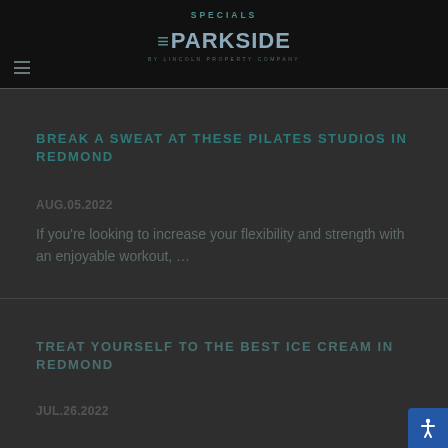SPECIALS
[Figure (logo): Parkside by Lincoln Property Company logo with hamburger menu icon]
BREAK A SWEAT AT THESE PILATES STUDIOS IN REDMOND
AUG.05.2022
If you're looking to increase your flexibility and strength with an enjoyable workout, …
TREAT YOURSELF TO THE BEST ICE CREAM IN REDMOND
JUL.26.2022